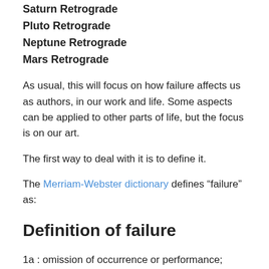Saturn Retrograde
Pluto Retrograde
Neptune Retrograde
Mars Retrograde
As usual, this will focus on how failure affects us as authors, in our work and life. Some aspects can be applied to other parts of life, but the focus is on our art.
The first way to deal with it is to define it.
The Merriam-Webster dictionary defines “failure” as:
Definition of failure
1a : omission of occurrence or performance; specifically : a failing to perform a duty or expected action